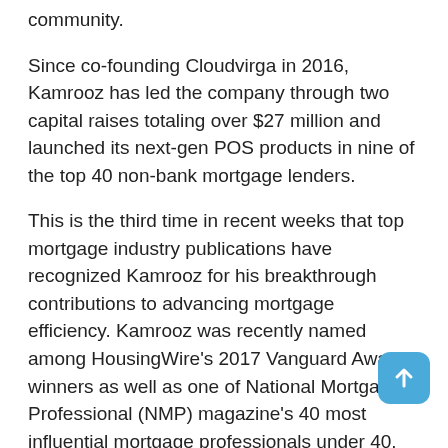community.
Since co-founding Cloudvirga in 2016, Kamrooz has led the company through two capital raises totaling over $27 million and launched its next-gen POS products in nine of the top 40 non-bank mortgage lenders.
This is the third time in recent weeks that top mortgage industry publications have recognized Kamrooz for his breakthrough contributions to advancing mortgage efficiency. Kamrooz was recently named among HousingWire's 2017 Vanguard Award winners as well as one of National Mortgage Professional (NMP) magazine's 40 most influential mortgage professionals under 40.
"It's a privilege to be recognized among such a distinguished group of mortgage professionals," said Kamrooz. "2017 was a great year for Cloudvirga and our customers, and we continue to tackle the massive problem of mortgage cost and inefficiency."
For a full rundown of 2018 MPA Hot 100 winners, visit